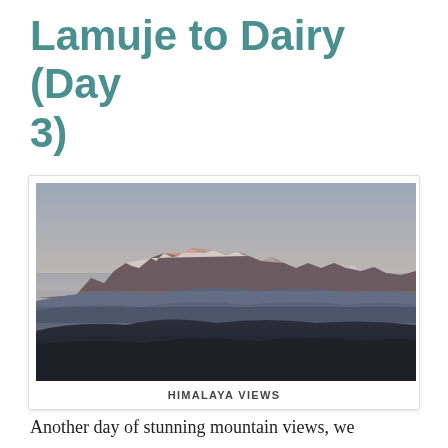Lamuje to Dairy (Day 3)
[Figure (photo): Panoramic photograph of Himalaya mountain range at dusk/dawn. Snow-capped peaks with pink-red alpenglow visible in the background. Dark rolling foothills in the foreground with hazy atmospheric layers in between. Sky is grey-blue gradient.]
HIMALAYA VIEWS
Another day of stunning mountain views, we